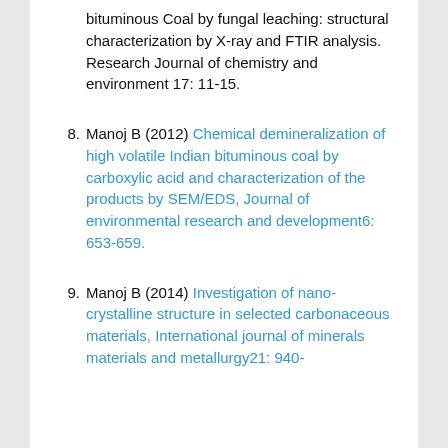bituminous Coal by fungal leaching: structural characterization by X-ray and FTIR analysis. Research Journal of chemistry and environment 17: 11-15.
8. Manoj B (2012) Chemical demineralization of high volatile Indian bituminous coal by carboxylic acid and characterization of the products by SEM/EDS, Journal of environmental research and development6: 653-659.
9. Manoj B (2014) Investigation of nano-crystalline structure in selected carbonaceous materials, International journal of minerals materials and metallurgy21: 940-